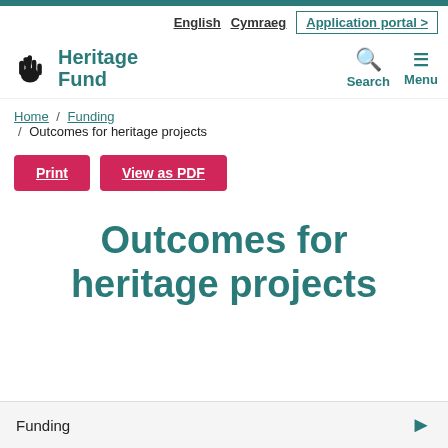English | Cymraeg | Application portal >
[Figure (logo): National Lottery Heritage Fund logo with crossed fingers icon and teal Heritage Fund text]
Search | Menu
Home / Funding / Outcomes for heritage projects
Print | View as PDF
Outcomes for heritage projects
Funding